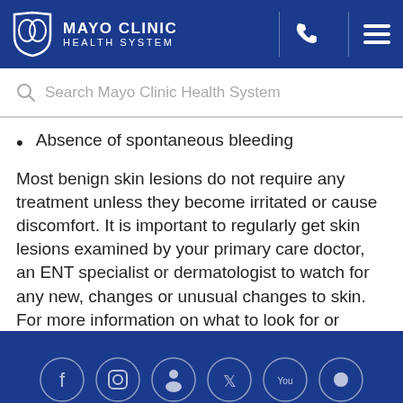MAYO CLINIC HEALTH SYSTEM
Search Mayo Clinic Health System
Absence of spontaneous bleeding
Most benign skin lesions do not require any treatment unless they become irritated or cause discomfort. It is important to regularly get skin lesions examined by your primary care doctor, an ENT specialist or dermatologist to watch for any new, changes or unusual changes to skin. For more information on what to look for or symptoms to be aware of, review the Skin Cancer Foundation's slideshow of the ABCDEs of moles.
Social media icons footer